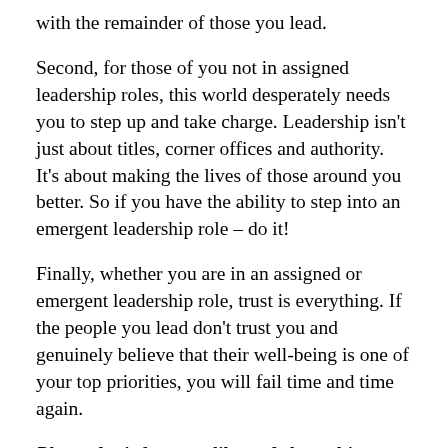with the remainder of those you lead.
Second, for those of you not in assigned leadership roles, this world desperately needs you to step up and take charge.  Leadership isn't just about titles, corner offices and authority.  It's about making the lives of those around you better.  So if you have the ability to step into an emergent leadership role – do it!
Finally, whether you are in an assigned or emergent leadership role, trust is everything.  If the people you lead don't trust you and genuinely believe that their well-being is one of your top priorities, you will fail time and time again.
Please don't forget to like and share this post and let me